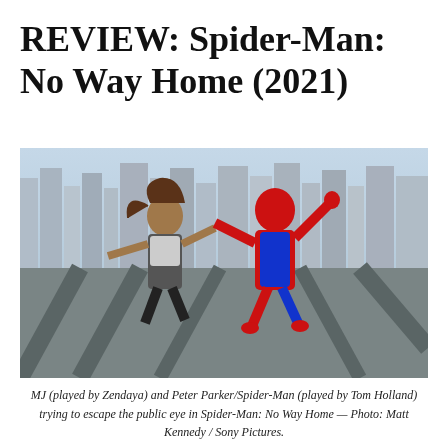REVIEW: Spider-Man: No Way Home (2021)
[Figure (photo): MJ (played by Zendaya) and Peter Parker/Spider-Man (played by Tom Holland) leaping/falling from a bridge structure with New York City skyline in the background. MJ has her arms outstretched and mouth open, Spider-Man in red and blue costume beside her.]
MJ (played by Zendaya) and Peter Parker/Spider-Man (played by Tom Holland) trying to escape the public eye in Spider-Man: No Way Home — Photo: Matt Kennedy / Sony Pictures.